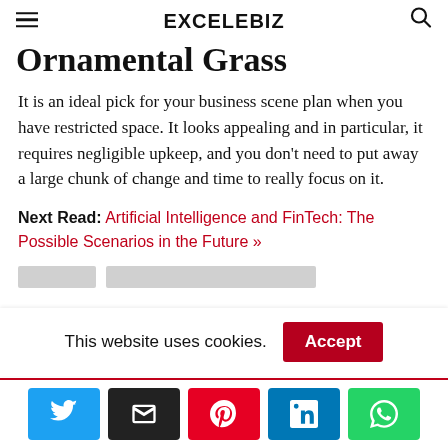EXCELEBIZ
Ornamental Grass
It is an ideal pick for your business scene plan when you have restricted space. It looks appealing and in particular, it requires negligible upkeep, and you don't need to put away a large chunk of change and time to really focus on it.
Next Read: Artificial Intelligence and FinTech: The Possible Scenarios in the Future »
This website uses cookies. Accept
Share buttons: Twitter, Email, Pinterest, LinkedIn, WhatsApp